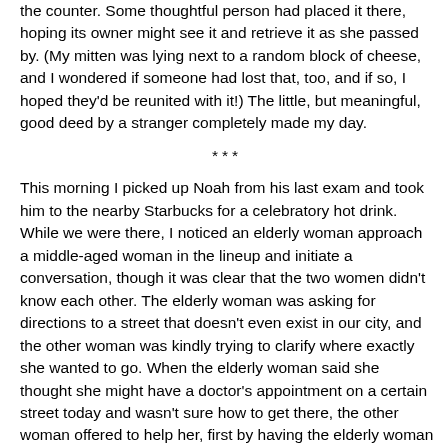the counter. Some thoughtful person had placed it there, hoping its owner might see it and retrieve it as she passed by. (My mitten was lying next to a random block of cheese, and I wondered if someone had lost that, too, and if so, I hoped they'd be reunited with it!) The little, but meaningful, good deed by a stranger completely made my day.
***
This morning I picked up Noah from his last exam and took him to the nearby Starbucks for a celebratory hot drink. While we were there, I noticed an elderly woman approach a middle-aged woman in the lineup and initiate a conversation, though it was clear that the two women didn't know each other. The elderly woman was asking for directions to a street that doesn't even exist in our city, and the other woman was kindly trying to clarify where exactly she wanted to go. When the elderly woman said she thought she might have a doctor's appointment on a certain street today and wasn't sure how to get there, the other woman offered to help her, first by having the elderly woman follow her in her car, and then, when she realized the elderly woman didn't